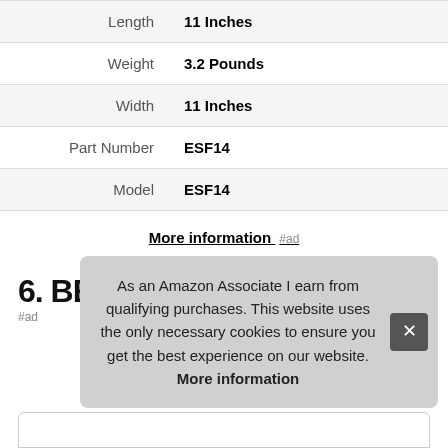| Length | 11 Inches |
| Weight | 3.2 Pounds |
| Width | 11 Inches |
| Part Number | ESF14 |
| Model | ESF14 |
More information #ad
6. BENBUO
#ad
As an Amazon Associate I earn from qualifying purchases. This website uses the only necessary cookies to ensure you get the best experience on our website. More information